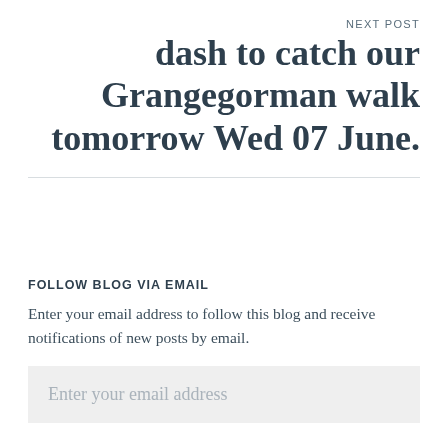NEXT POST
dash to catch our Grangegorman walk tomorrow Wed 07 June.
FOLLOW BLOG VIA EMAIL
Enter your email address to follow this blog and receive notifications of new posts by email.
Enter your email address